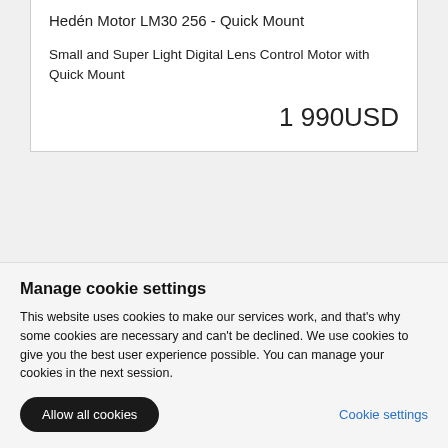Hedén Motor LM30 256 - Quick Mount
Small and Super Light Digital Lens Control Motor with Quick Mount
1 990USD
Article number:10010
Hedén Motor CM55
Manage cookie settings
This website uses cookies to make our services work, and that's why some cookies are necessary and can't be declined. We use cookies to give you the best user experience possible. You can manage your cookies in the next session.
Allow all cookies
Cookie settings